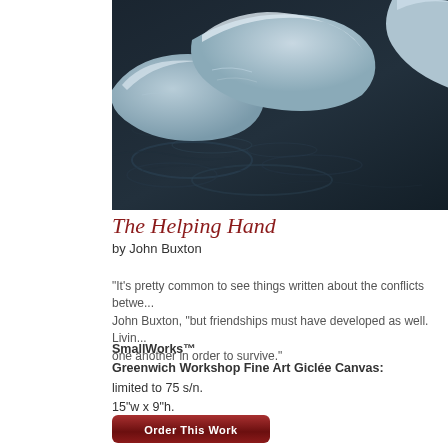[Figure (photo): Painting of icy winter scene with dark water and snow-covered ice chunks, a figure reaching down from upper right corner, by John Buxton]
The Helping Hand
by John Buxton
“It’s pretty common to see things written about the conflicts betwe... John Buxton, “but friendships must have developed as well. Livin... one another in order to survive.”
SmallWorks™
Greenwich Workshop Fine Art Giclée Canvas:
limited to 75 s/n.
15"w x 9"h.
$215
Order This Work